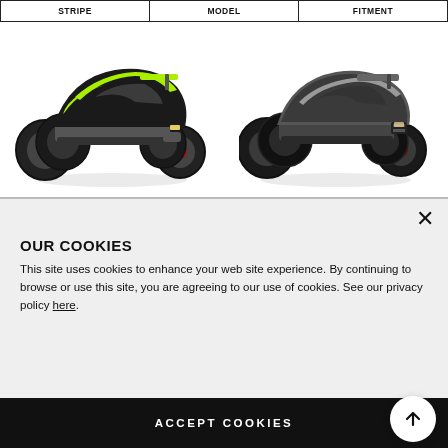| STRIPE | MODEL | FITMENT |
| --- | --- | --- |
[Figure (photo): Two RC monster trucks side by side on white background. Left truck is black and green, right truck is dark grey/silver. Both are 4-wheel off-road radio-controlled vehicles with large knobby tires.]
OUR COOKIES
This site uses cookies to enhance your web site experience. By continuing to browse or use this site, you are agreeing to our use of cookies. See our privacy policy here.
ACCEPT COOKIES